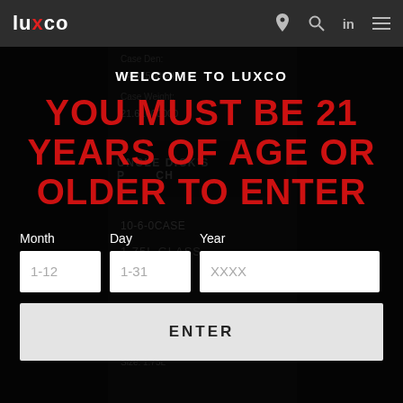luxco navigation bar with logo, location, search, linkedin, and menu icons
[Figure (screenshot): Background product page content partially visible behind modal overlay showing Case Den, 14.37500000, Case Weight, 21.61600000, Uncle Dick's Peach product listing, 1.75L Glass 6-IN, Size: 1.75L]
WELCOME TO LUXCO
YOU MUST BE 21 YEARS OF AGE OR OLDER TO ENTER
Month Day Year input fields with placeholders 1-12, 1-31, XXXX
ENTER button